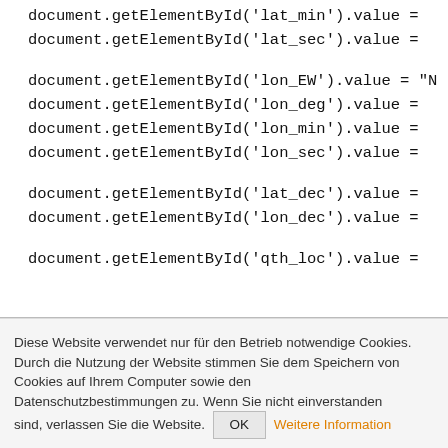document.getElementById('lat_min').value =
document.getElementById('lat_sec').value =

document.getElementById('lon_EW').value = "N
document.getElementById('lon_deg').value =
document.getElementById('lon_min').value =
document.getElementById('lon_sec').value =

document.getElementById('lat_dec').value =
document.getElementById('lon_dec').value =

document.getElementById('qth_loc').value =
Diese Website verwendet nur für den Betrieb notwendige Cookies. Durch die Nutzung der Website stimmen Sie dem Speichern von Cookies auf Ihrem Computer sowie den Datenschutzbestimmungen zu. Wenn Sie nicht einverstanden sind, verlassen Sie die Website.